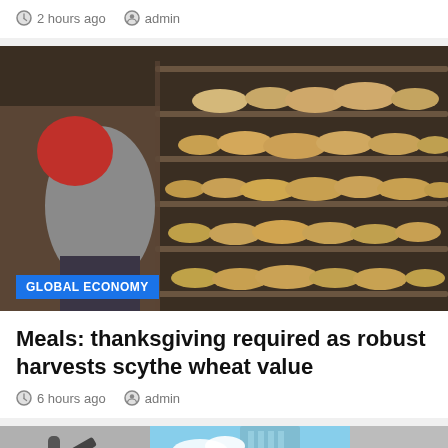2 hours ago  admin
[Figure (photo): A person loading or arranging flatbread (pita) on wooden racks in a bakery, with many breads stacked on shelves. Category badge reads GLOBAL ECONOMY.]
Meals: thanksgiving required as robust harvests scythe wheat value
6 hours ago  admin
[Figure (photo): Black and white abstract sculpture on the left, a glass skyscraper building under blue sky in the center, grey wall on the right.]